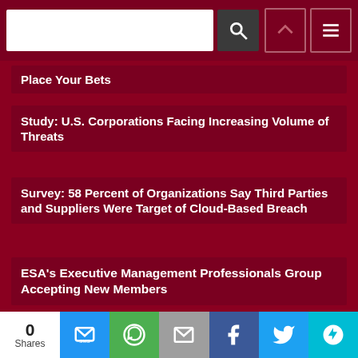[Figure (screenshot): Navigation bar with search input, search button, up arrow icon, and menu icon on dark red background]
Place Your Bets
Study: U.S. Corporations Facing Increasing Volume of Threats
Survey: 58 Percent of Organizations Say Third Parties and Suppliers Were Target of Cloud-Based Breach
ESA's Executive Management Professionals Group Accepting New Members
Global VMS Market Projected to be Valued at $30 Billion in a Decade
[Figure (screenshot): Share bar at bottom with 0 Shares count, SMS, WhatsApp, Email, Facebook, Twitter, and More buttons]